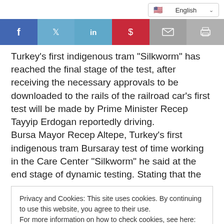English
[Figure (infographic): Social sharing buttons: Facebook (blue), Twitter (light blue), LinkedIn (blue), Pinterest (red), Email (grey), Print (grey)]
Turkey's first indigenous tram "Silkworm" has reached the final stage of the test, after receiving the necessary approvals to be downloaded to the rails of the railroad car's first test will be made by Prime Minister Recep Tayyip Erdogan reportedly driving.
Bursa Mayor Recep Altepe, Turkey's first indigenous tram Bursaray test of time working in the Care Center "Silkworm" he said at the end stage of dynamic testing. Stating that the
Privacy and Cookies: This site uses cookies. By continuing to use this website, you agree to their use.
For more information on how to check cookies, see here: Cookie Policy
company here either. They confirm these. A worldwide